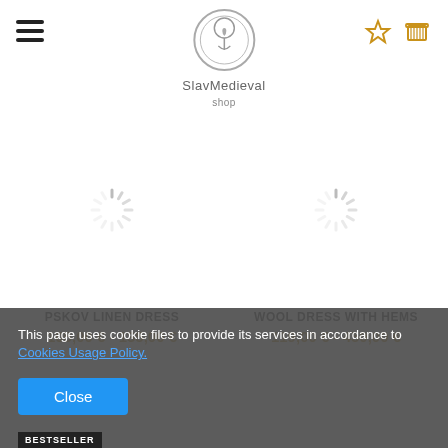SlavMedieval shop
[Figure (illustration): Loading spinner icon for product image (left product)]
PSKOV LINEN DRESS
105,00 € - 135,00 €
[Figure (illustration): Loading spinner icon for product image (right product)]
WOOL DRESS WITH HEMS
119,00 € - 450,00 €
This page uses cookie files to provide its services in accordance to Cookies Usage Policy.
Close